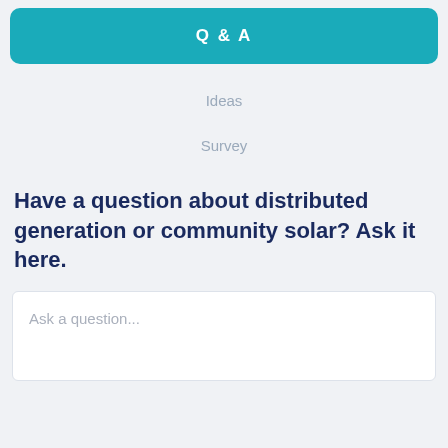Q & A
Ideas
Survey
Have a question about distributed generation or community solar? Ask it here.
Ask a question...